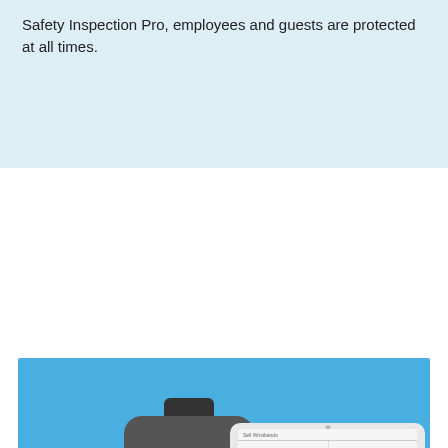Safety Inspection Pro, employees and guests are protected at all times.
[Figure (illustration): Illustration on a blue background showing a rugged handheld device (gray body with yellow accents and green bottom) displaying a MagicMoney app screen with the number 5 in a blue circle labeled 'charge', alongside a tablet showing a 'Sell Wristbands' screen with 'Wristband Found' confirmation and 'Details to Assign' panel showing fields for ID, credits, and $20.00 / 20 Credits, with an Assign button.]